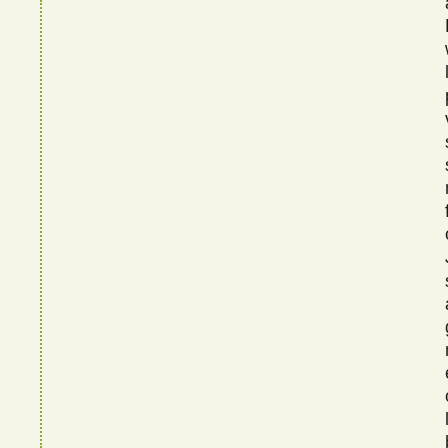actual
British
western
larger
powerful
visual
serial
smaller
northern
floppy
classic
Jewish
southern
annual
greatest
nuclear
eastern
constant
lucky
biggest
harder
golden
Asian
static
postal
massive
graphic
guilty
inner
Irish
racist
fastest
handy